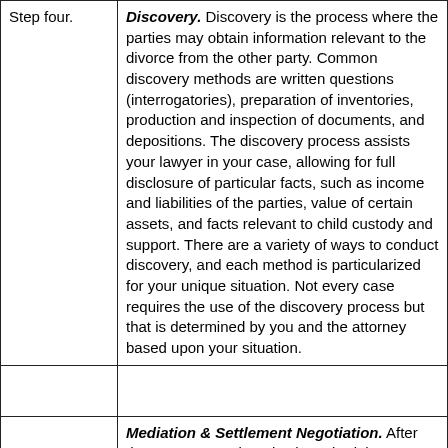| Step four. | Discovery. Discovery is the process where the parties may obtain information relevant to the divorce from the other party. Common discovery methods are written questions (interrogatories), preparation of inventories, production and inspection of documents, and depositions. The discovery process assists your lawyer in your case, allowing for full disclosure of particular facts, such as income and liabilities of the parties, value of certain assets, and facts relevant to child custody and support. There are a variety of ways to conduct discovery, and each method is particularized for your unique situation. Not every case requires the use of the discovery process but that is determined by you and the attorney based upon your situation. |
|  |  |
|  | Mediation & Settlement Negotiation. After the attorneys and parties have had the opportunity to obtain the information necessary to make an informed decision about the strengths of the case and their respective litigation strategies, a final... |